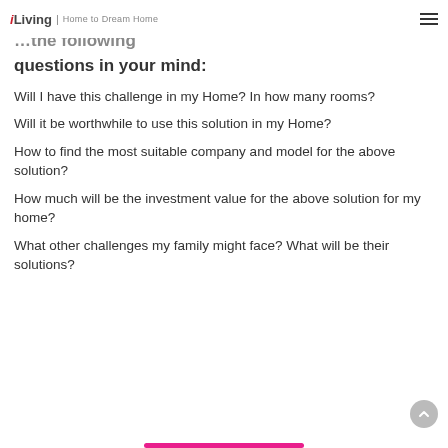iLiving | Home to Dream Home
…the following questions in your mind:
Will I have this challenge in my Home? In how many rooms?
Will it be worthwhile to use this solution in my Home?
How to find the most suitable company and model for the above solution?
How much will be the investment value for the above solution for my home?
What other challenges my family might face? What will be their solutions?